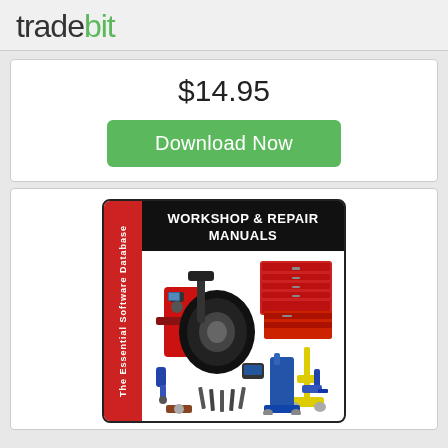tradebit
$14.95
Download Now
[Figure (illustration): Workshop & Repair Manuals book cover showing automotive tools including tire machine, tool chest, jack stands, impact wrench, and various hand tools. Red spine reads 'The Essential Software Database'. Title text reads 'WORKSHOP & REPAIR MANUALS'.]